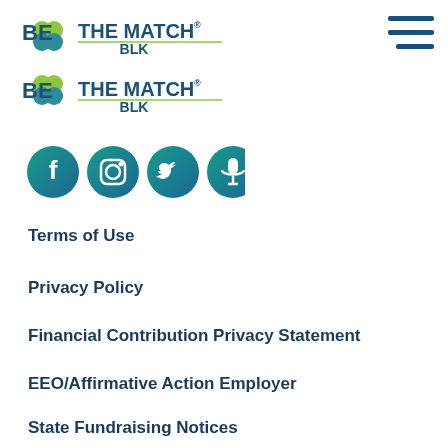[Figure (logo): Be The Match BLK logo, shown twice in green and blue colors]
[Figure (logo): Hamburger menu icon (three horizontal lines) in dark blue]
[Figure (illustration): Row of four social media icon circles (Facebook, Instagram, Twitter, Microphone/Podcast) with teal-to-blue gradient backgrounds]
Terms of Use
Privacy Policy
Financial Contribution Privacy Statement
EEO/Affirmative Action Employer
State Fundraising Notices